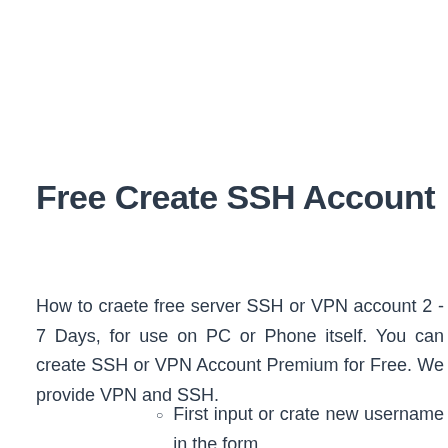Free Create SSH Account
How to craete free server SSH or VPN account 2 - 7 Days, for use on PC or Phone itself. You can create SSH or VPN Account Premium for Free. We provide VPN and SSH.
First input or crate new username in the form